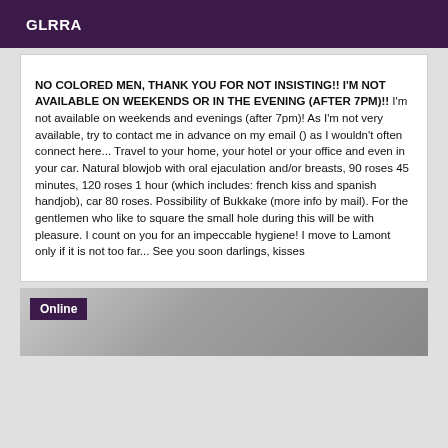GLRRA
NO COLORED MEN, THANK YOU FOR NOT INSISTING!! I'M NOT AVAILABLE ON WEEKENDS OR IN THE EVENING (AFTER 7PM)!! I'm not available on weekends and evenings (after 7pm)! As I'm not very available, try to contact me in advance on my email () as I wouldn't often connect here... Travel to your home, your hotel or your office and even in your car. Natural blowjob with oral ejaculation and/or breasts, 90 roses 45 minutes, 120 roses 1 hour (which includes: french kiss and spanish handjob), car 80 roses. Possibility of Bukkake (more info by mail). For the gentlemen who like to square the small hole during this will be with pleasure. I count on you for an impeccable hygiene! I move to Lamont only if it is not too far... See you soon darlings, kisses
[Figure (photo): Partial photo with an 'Online' badge overlay in the bottom section of the page]